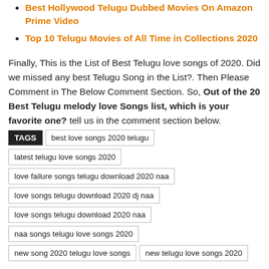Best Hollywood Telugu Dubbed Movies On Amazon Prime Video
Top 10 Telugu Movies of All Time in Collections 2020
Finally, This is the List of Best Telugu love songs of 2020. Did we missed any best Telugu Song in the List?. Then Please Comment in The Below Comment Section. So, Out of the 20 Best Telugu melody love Songs list, which is your favorite one? tell us in the comment section below.
TAGS  best love songs 2020 telugu  latest telugu love songs 2020  love failure songs telugu download 2020 naa  love songs telugu download 2020 dj naa  love songs telugu download 2020 naa  naa songs telugu love songs 2020  new song 2020 telugu love songs  new telugu love songs 2020